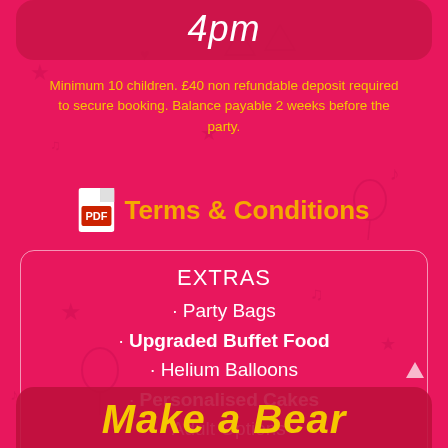4pm
Minimum 10 children. £40 non refundable deposit required to secure booking. Balance payable 2 weeks before the party.
Terms & Conditions
EXTRAS
· Party Bags
· Upgraded Buffet Food
· Helium Balloons
· Personalised Cakes
· Adult Options
· Pass the Parcel
Make a Bear